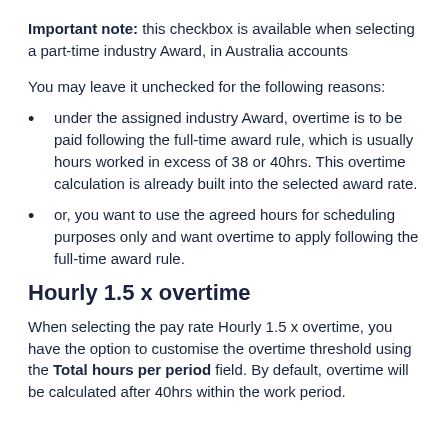Important note: this checkbox is available when selecting a part-time industry Award, in Australia accounts
You may leave it unchecked for the following reasons:
under the assigned industry Award, overtime is to be paid following the full-time award rule, which is usually hours worked in excess of 38 or 40hrs. This overtime calculation is already built into the selected award rate.
or, you want to use the agreed hours for scheduling purposes only and want overtime to apply following the full-time award rule.
Hourly 1.5 x overtime
When selecting the pay rate Hourly 1.5 x overtime, you have the option to customise the overtime threshold using the Total hours per period field. By default, overtime will be calculated after 40hrs within the work period.